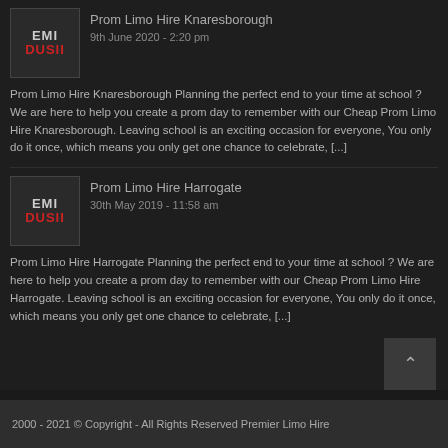[Figure (logo): EMI DUSII logo - grey and red text on dark background]
Prom Limo Hire Knaresborough
9th June 2020 - 2:20 pm
Prom Limo Hire Knaresborough Planning the perfect end to your time at school ? We are here to help you create a prom day to remember with our Cheap Prom Limo Hire Knaresborough. Leaving school is an exciting occasion for everyone, You only do it once, which means you only get one chance to celebrate, [...]
[Figure (logo): EMI DUSII logo - grey and red text on dark background]
Prom Limo Hire Harrogate
30th May 2019 - 11:58 am
Prom Limo Hire Harrogate Planning the perfect end to your time at school ? We are here to help you create a prom day to remember with our Cheap Prom Limo Hire Harrogate. Leaving school is an exciting occasion for everyone, You only do it once, which means you only get one chance to celebrate, [...]
2000 - 2021 © Copyright - All Rights Reserved Premier Limo Hire